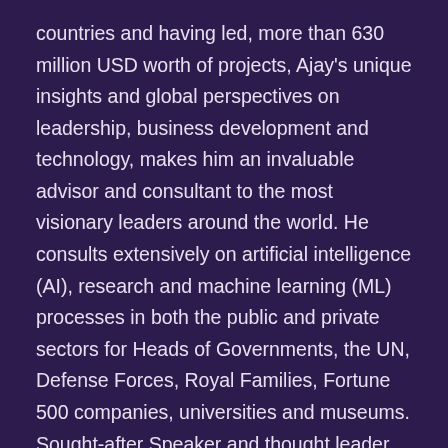countries and having led, more than 630 million USD worth of projects, Ajay's unique insights and global perspectives on leadership, business development and technology, makes him an invaluable advisor and consultant to the most visionary leaders around the world. He consults extensively on artificial intelligence (AI), research and machine learning (ML) processes in both the public and private sectors for Heads of Governments, the UN, Defense Forces, Royal Families, Fortune 500 companies, universities and museums.
Sought-after Speaker and thought leader on the topics of Innovative leadership, Emerging technologies (AI &Machine learning), Skill transformation and Change management, he has travelled the world, presenting at various prestigious